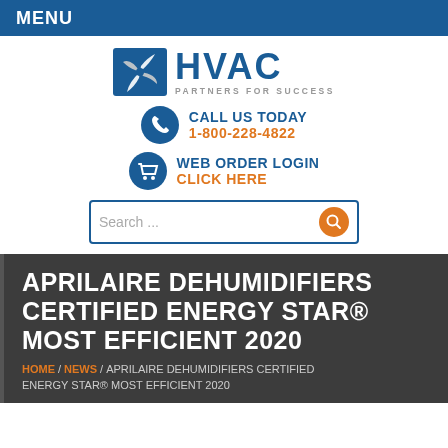MENU
[Figure (logo): HVAC Partners for Success logo with stylized fan/arrow icon and blue HVAC text]
CALL US TODAY 1-800-228-4822
WEB ORDER LOGIN CLICK HERE
Search ...
APRILAIRE DEHUMIDIFIERS CERTIFIED ENERGY STAR® MOST EFFICIENT 2020
HOME / NEWS / APRILAIRE DEHUMIDIFIERS CERTIFIED ENERGY STAR® MOST EFFICIENT 2020